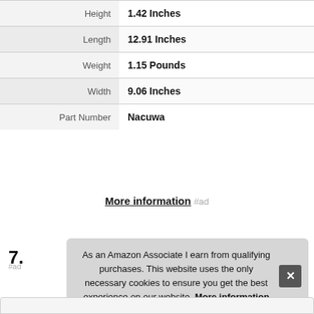| Attribute | Value |
| --- | --- |
| Height | 1.42 Inches |
| Length | 12.91 Inches |
| Weight | 1.15 Pounds |
| Width | 9.06 Inches |
| Part Number | Nacuwa |
More information #ad
7.
As an Amazon Associate I earn from qualifying purchases. This website uses the only necessary cookies to ensure you get the best experience on our website. More information
#ad